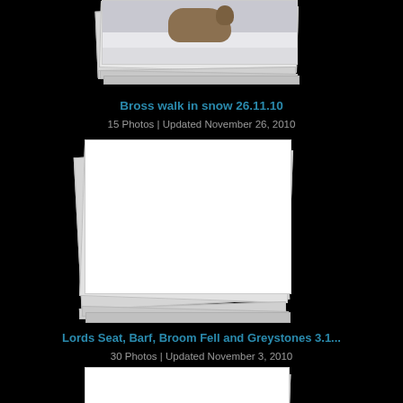[Figure (photo): Partial top of a photo album stack showing a dog in snow, album cover visible at top]
Bross walk in snow 26.11.10
15 Photos | Updated November 26, 2010
[Figure (photo): Photo album stack with blank white front cover]
Lords Seat, Barf, Broom Fell and Greystones 3.1...
30 Photos | Updated November 3, 2010
[Figure (photo): Photo album stack with blank white front cover, partially visible at bottom]